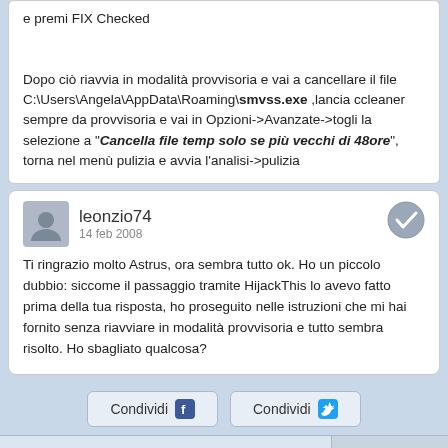e premi FIX Checked

Dopo ciò riavvia in modalità provvisoria e vai a cancellare il file C:\Users\Angela\AppData\Roaming\smvss.exe ,lancia ccleaner sempre da provvisoria e vai in Opzioni->Avanzate->togli la selezione a "Cancella file temp solo se più vecchi di 48ore", torna nel menù pulizia e avvia l'analisi->pulizia
leonzio74
14 feb 2008

Ti ringrazio molto Astrus, ora sembra tutto ok. Ho un piccolo dubbio: siccome il passaggio tramite HijackThis lo avevo fatto prima della tua risposta, ho proseguito nelle istruzioni che mi hai fornito senza riavviare in modalità provvisoria e tutto sembra risolto. Ho sbagliato qualcosa?
Condividi  Condividi
« Precedente   Prossimo »